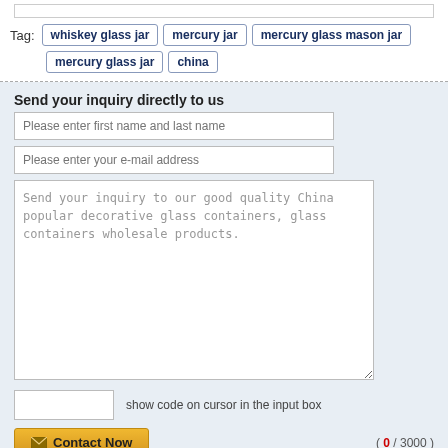Tag: whiskey glass jar  mercury jar  mercury glass mason jar  mercury glass jar  china
Send your inquiry directly to us
Please enter first name and last name
Please enter your e-mail address
Send your inquiry to our good quality China popular decorative glass containers, glass containers wholesale products.
show code on cursor in the input box
( 0 / 3000 )
Contact Now